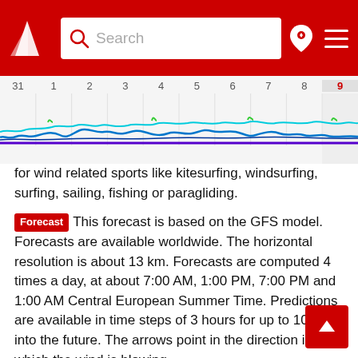Search
[Figure (other): Wind forecast timeline chart showing wave/wind patterns for days 31, 1, 2, 3, 4, 5, 6, 7, 8, 9 with colored wave lines in blue, cyan, green and a purple horizontal baseline]
for wind related sports like kitesurfing, windsurfing, surfing, sailing, fishing or paragliding.
Forecast This forecast is based on the GFS model. Forecasts are available worldwide. The horizontal resolution is about 13 km. Forecasts are computed 4 times a day, at about 7:00 AM, 1:00 PM, 7:00 PM and 1:00 AM Central European Summer Time. Predictions are available in time steps of 3 hours for up to 10 days into the future. The arrows point in the direction in which the wind is blowing.
Check the wind forecast for Zaisenhausen when you search for the best travel destinations for your kiteboarding, windsurfing or sailing vacations in Germany. Or use our wind forecast to find the wind speed today in Zaisenhausen or to have a look at the wind direction tomorrow at Zaisenhausen.